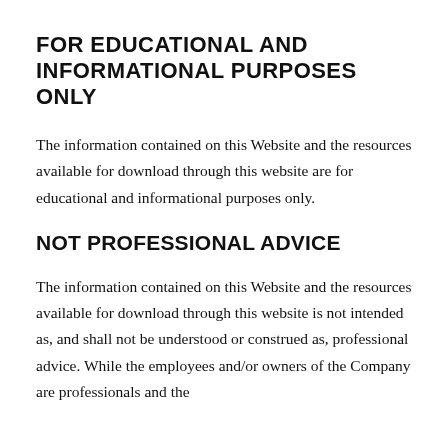FOR EDUCATIONAL AND INFORMATIONAL PURPOSES ONLY
The information contained on this Website and the resources available for download through this website are for educational and informational purposes only.
NOT PROFESSIONAL ADVICE
The information contained on this Website and the resources available for download through this website is not intended as, and shall not be understood or construed as, professional advice. While the employees and/or owners of the Company are professionals and the